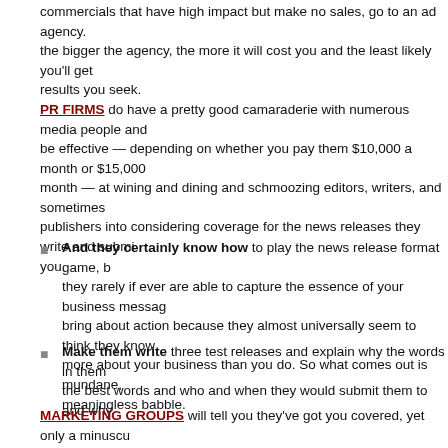commercials that have high impact but make no sales, go to an ad agency. the bigger the agency, the more it will cost you and the least likely you'll get results you seek.
PR FIRMS do have a pretty good camaraderie with numerous media people and be effective — depending on whether you pay them $10,000 a month or $15,000 month — at wining and dining and schmoozing editors, writers, and sometimes publishers into considering coverage for the news releases they write and submit you.
And they certainly know how to play the news release format game, but they rarely if ever are able to capture the essence of your business message bring about action because they almost universally seem to think they know more about your business than you do. So what comes out is mundane, meaningless babble.
Make them write three test releases and explain why the words in them the best words and who and when they would submit them to and why.
MARKETING GROUPS will tell you they've got you covered, yet only a minuscule number actually realize that marketing is the umbrella and that the functions und